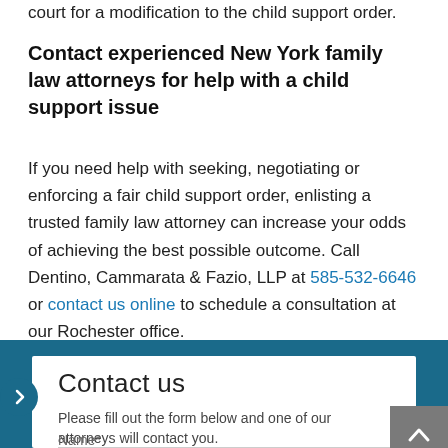court for a modification to the child support order.
Contact experienced New York family law attorneys for help with a child support issue
If you need help with seeking, negotiating or enforcing a fair child support order, enlisting a trusted family law attorney can increase your odds of achieving the best possible outcome. Call Dentino, Cammarata & Fazio, LLP at 585-532-6646 or contact us online to schedule a consultation at our Rochester office.
Contact us
Please fill out the form below and one of our attorneys will contact you.
Name*